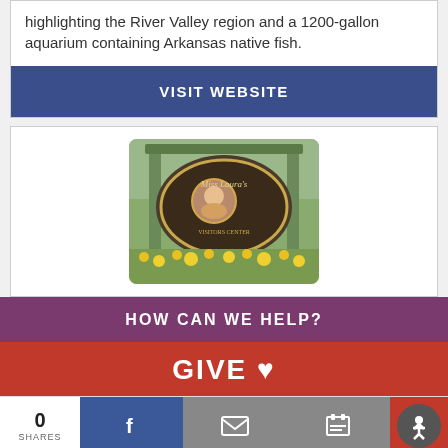highlighting the River Valley region and a 1200-gallon aquarium containing Arkansas native fish.
VISIT WEBSITE
[Figure (photo): Sign for Miss Laura's Visitors Center with an oval portrait, surrounded by yellow flowers and green foliage]
HOW CAN WE HELP?
GIVE ♥
0 SHARES